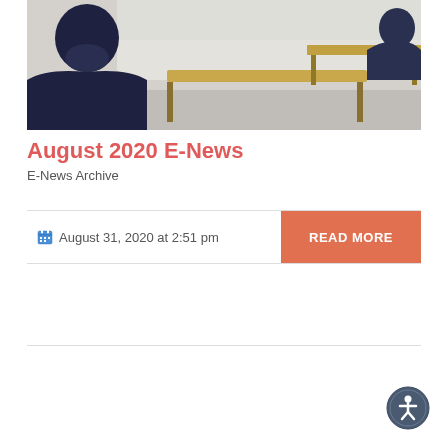[Figure (photo): Classroom photo showing a student from behind wearing a mask, seated at a desk with other desks and a whiteboard in the background]
August 2020 E-News
E-News Archive
August 31, 2020 at 2:51 pm
READ MORE